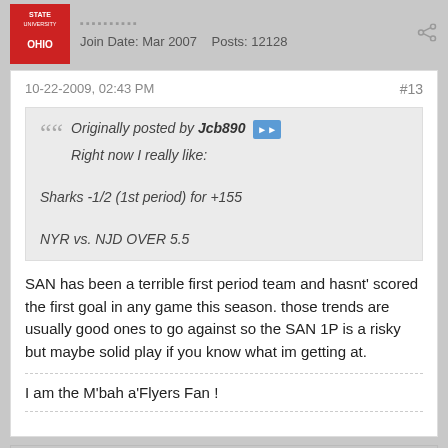Join Date: Mar 2007   Posts: 12128
10-22-2009, 02:43 PM
#13
Originally posted by Jcb890
Right now I really like:

Sharks -1/2 (1st period) for +155

NYR vs. NJD OVER 5.5
SAN has been a terrible first period team and hasnt' scored the first goal in any game this season. those trends are usually good ones to go against so the SAN 1P is a risky but maybe solid play if you know what im getting at.
I am the M'bah a'Flyers Fan !
FlyersFan
Senior Member
Join Date: Mar 2007   Posts: 12128